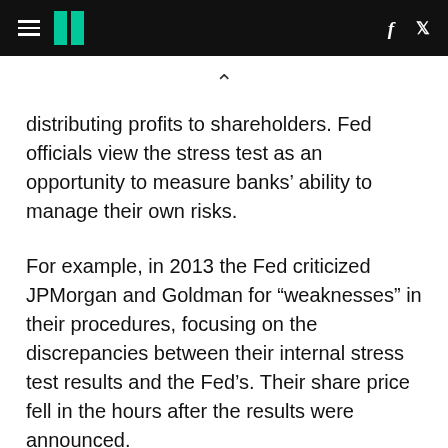HuffPost navigation logo with hamburger menu, f and Twitter icons
distributing profits to shareholders. Fed officials view the stress test as an opportunity to measure banks’ ability to manage their own risks.
For example, in 2013 the Fed criticized JPMorgan and Goldman for “weaknesses” in their procedures, focusing on the discrepancies between their internal stress test results and the Fed’s. Their share price fell in the hours after the results were announced.
Eric Kollig of the Fed, Joseph Evangelisti of JPMorgan, and David Wells of Goldman all